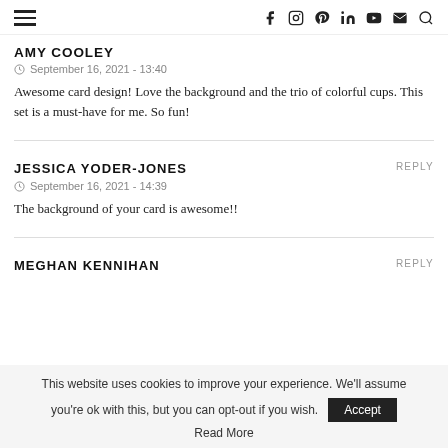≡  f  instagram  pinterest  in  youtube  mail  search
AMY COOLEY
September 16, 2021 - 13:40
Awesome card design! Love the background and the trio of colorful cups. This set is a must-have for me. So fun!
JESSICA YODER-JONES
REPLY
September 16, 2021 - 14:39
The background of your card is awesome!!
MEGHAN KENNIHAN
REPLY
This website uses cookies to improve your experience. We'll assume you're ok with this, but you can opt-out if you wish.
Accept
Read More